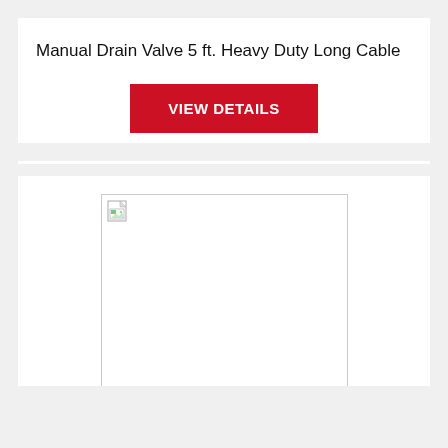Manual Drain Valve 5 ft. Heavy Duty Long Cable
VIEW DETAILS
[Figure (photo): Product image placeholder — broken image icon shown in top-left corner of empty white rectangle with gray border]